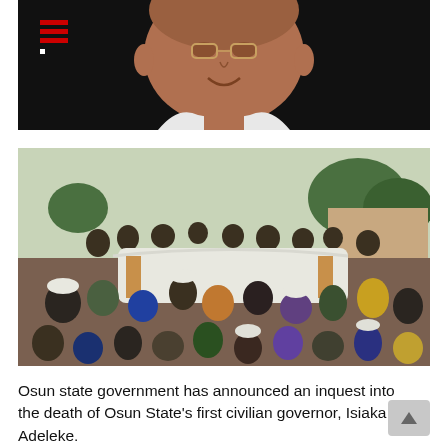[Figure (photo): Portrait photo of Isiaka Adeleke smiling, wearing glasses and white clothing, against a black background]
[Figure (photo): Crowd of people at a funeral carrying a white-draped coffin outdoors]
Osun state government has announced an inquest into the death of Osun State's first civilian governor, Isiaka Adeleke.